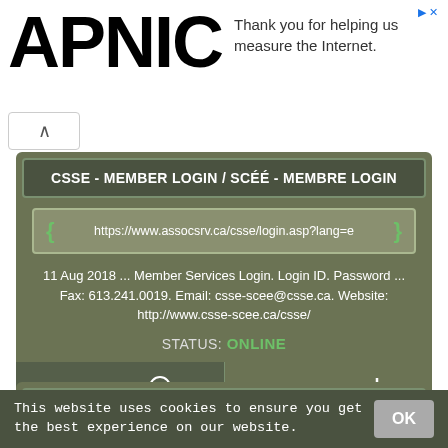[Figure (logo): APNIC logo in large black bold text on white background]
Thank you for helping us measure the Internet.
CSSE - MEMBER LOGIN / SCÉÉ - MEMBRE LOGIN
https://www.assocsrv.ca/csse/login.asp?lang=e
11 Aug 2018 ... Member Services Login. Login ID. Password ... Fax: 613.241.0019. Email: csse-scee@csse.ca. Website: http://www.csse-scee.ca/csse/
STATUS: ONLINE
PREVIEW
DOWNLOAD
JOIN / LOGIN - SUPERCHEAP AUTO NEW ZEALAND | LOGIN
This website uses cookies to ensure you get the best experience on our website.